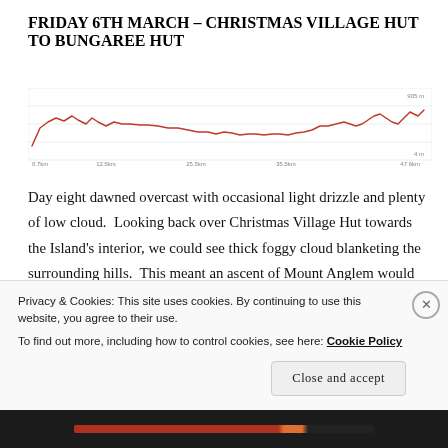FRIDAY 6TH MARCH – CHRISTMAS VILLAGE HUT TO BUNGAREE HUT
[Figure (continuous-plot): Elevation profile chart showing a red line graph of the hike route from Christmas Village Hut to Bungaree Hut. The line shows an undulating profile with a higher section in the first quarter, then descending and remaining relatively flat in the middle, before rising again toward the right end. X-axis shows distance markers (0.7km, 12.5km, 25.5km, 35.5km, 47.6km). Y-axis shows elevation with labels at top (905m) and bottom (4m).]
Day eight dawned overcast with occasional light drizzle and plenty of low cloud.  Looking back over Christmas Village Hut towards the Island's interior, we could see thick foggy cloud blanketing the surrounding hills.  This meant an ascent of Mount Anglem would be nothing more than a workout in the
Privacy & Cookies: This site uses cookies. By continuing to use this website, you agree to their use.
To find out more, including how to control cookies, see here: Cookie Policy
Close and accept